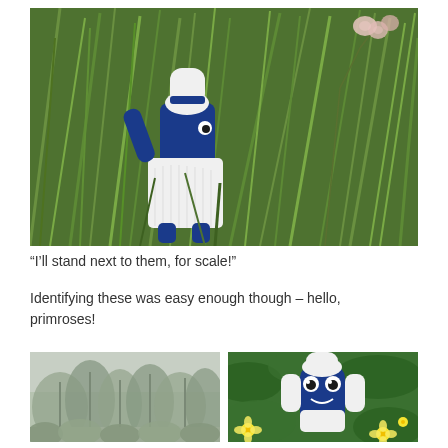[Figure (photo): A small blue and white knitted toy/creature standing among tall green grass with pale pink flowers visible in the background. The toy is viewed from behind, wearing a white knitted outfit and blue hat.]
“I’ll stand next to them, for scale!”
Identifying these was easy enough though – hello, primroses!
[Figure (photo): A misty woodland scene with dense leafy shrubs and trees with no foliage, foggy grey sky background.]
[Figure (photo): The same blue and white knitted toy standing among green leaves and small yellow primrose flowers, viewed from the front showing its googly eyes.]